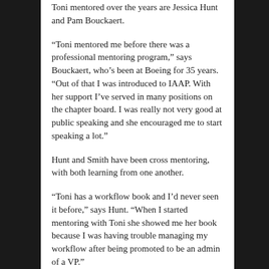Toni mentored over the years are Jessica Hunt and Pam Bouckaert.
“Toni mentored me before there was a professional mentoring program,” says Bouckaert, who’s been at Boeing for 35 years. “Out of that I was introduced to IAAP. With her support I’ve served in many positions on the chapter board. I was really not very good at public speaking and she encouraged me to start speaking a lot.”
Hunt and Smith have been cross mentoring, with both learning from one another.
“Toni has a workflow book and I’d never seen it before,” says Hunt. “When I started mentoring with Toni she showed me her book because I was having trouble managing my workflow after being promoted to be an admin of a VP.”
Building into others is intrinsic to Smith and is an integral part of her leadership style. She’s taken